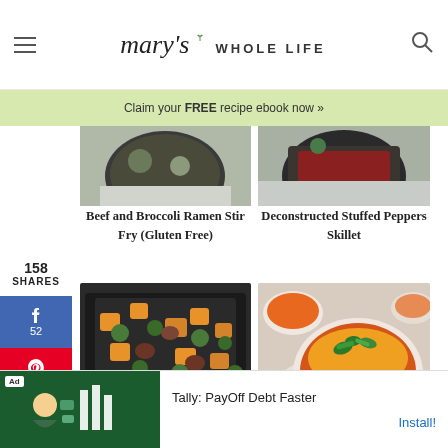mary's WHOLE LIFE
Claim your FREE recipe ebook now »
158 SHARES
[Figure (photo): Top portion of food photos - Beef and Broccoli Ramen Stir Fry (Gluten Free) and Deconstructed Stuffed Peppers Skillet]
Beef and Broccoli Ramen Stir Fry (Gluten Free)
Deconstructed Stuffed Peppers Skillet
[Figure (photo): Sheet pan with roasted vegetables and sausage]
[Figure (photo): Bowl of stuffed pepper casserole with cheese and jalapeños]
Ad Tally: PayOff Debt Faster Install!